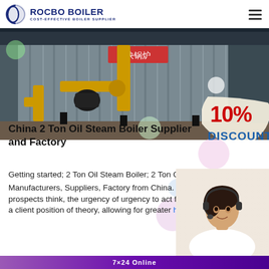ROCBO BOILER - COST-EFFECTIVE BOILER SUPPLIER
[Figure (photo): Industrial boiler setup with corrugated metal panels and yellow pipes/valves visible, inside a factory building. A 10% DISCOUNT badge appears in the lower right corner of the image.]
China 2 Ton Oil Steam Boiler Supplier and Factory
Getting started; 2 Ton Oil Steam Boiler; 2 Ton Oil Steam Boiler - Manufacturers, Suppliers, Factory from China. We prospects think, the urgency of urgency to act from the basis of a client position of theory, allowing for greater high-quality, reduc...